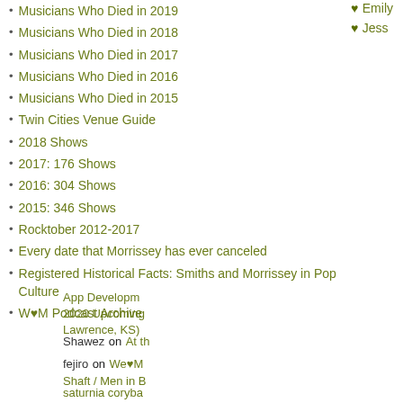Musicians Who Died in 2019
Musicians Who Died in 2018
Musicians Who Died in 2017
Musicians Who Died in 2016
Musicians Who Died in 2015
Twin Cities Venue Guide
2018 Shows
2017: 176 Shows
2016: 304 Shows
2015: 346 Shows
Rocktober 2012-2017
Every date that Morrissey has ever canceled
Registered Historical Facts: Smiths and Morrissey in Pop Culture
W♥M Podcast Archive
♥ Emily
♥ Jess
Recent Comm
App Developm 2020 Upcoming Lawrence, KS)
Shawez on At th
fejiro on We♥M Shaft / Men in B
saturnia coryba 2020